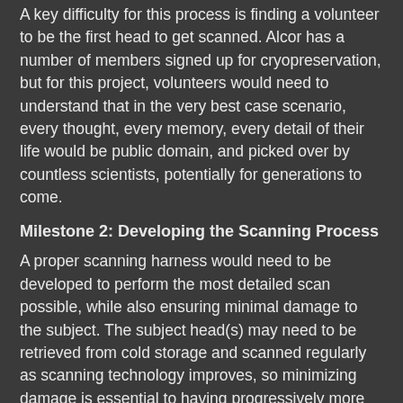A key difficulty for this process is finding a volunteer to be the first head to get scanned.  Alcor has a number of members signed up for cryopreservation, but for this project, volunteers would need to understand that in the very best case scenario, every thought, every memory, every detail of their life would be public domain, and picked over by countless scientists, potentially for generations to come.
Milestone 2: Developing the Scanning Process
A proper scanning harness would need to be developed to perform the most detailed scan possible, while also ensuring minimal damage to the subject.  The subject head(s) may need to be retrieved from cold storage and scanned regularly as scanning technology improves, so minimizing damage is essential to having progressively more detailed scans.
Milestone 3: Open Source a Head
Once the head scan is complete, the full scan data should be published as widely as possible.  I imagine this effort could be similar to this generation's Human Genome Project, with researchers around the world digging into the available data